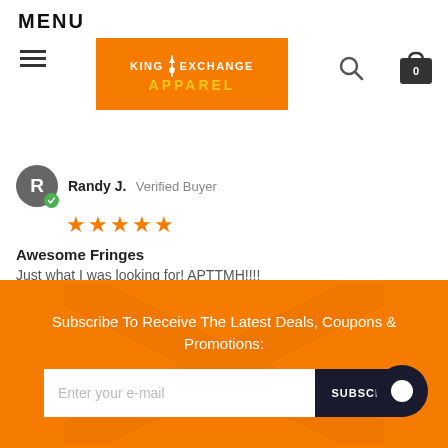MENU
[Figure (logo): King Exchange Apparel logo on orange background]
Randy J.  Verified Buyer
[Figure (illustration): Five orange stars rating]
Awesome Fringes
Just what I was looking for! APTTMH!!!!
Share
12/22/20
Subscribe To Receive The Latest Deals, Coupons & Promotions:
Enter your e-mail
SUBSCRIBE